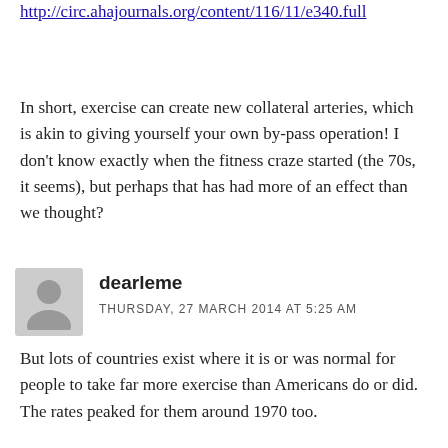http://circ.ahajournals.org/content/116/11/e340.full
In short, exercise can create new collateral arteries, which is akin to giving yourself your own by-pass operation! I don't know exactly when the fitness craze started (the 70s, it seems), but perhaps that has had more of an effect than we thought?
dearleme
THURSDAY, 27 MARCH 2014 AT 5:25 AM
But lots of countries exist where it is or was normal for people to take far more exercise than Americans do or did. The rates peaked for them around 1970 too.